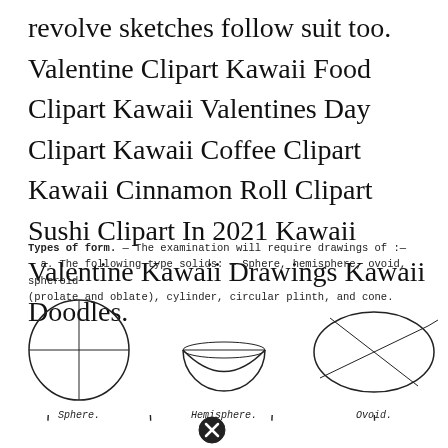revolve sketches follow suit too. Valentine Clipart Kawaii Food Clipart Kawaii Valentines Day Clipart Kawaii Coffee Clipart Kawaii Cinnamon Roll Clipart Sushi Clipart In 2021 Kawaii Valentine Kawaii Drawings Kawaii Doodles.
Types of form. — The examination will require drawings of :— a. The following type solids: — Sphere, hemisphere, ovoid, spheroid (prolate and oblate), cylinder, circular plinth, and cone.
[Figure (illustration): Three geometric form sketches in a row: Sphere (circle with crosshairs), Hemisphere (half-circle bowl with horizontal lines), and Ovoid (wide oval with crosshairs). Each labeled below in italic monospace.]
[Figure (illustration): Partial view of more geometric form sketches at the bottom of the page, partially cropped. A close/cancel button (circled X) is visible in the center.]